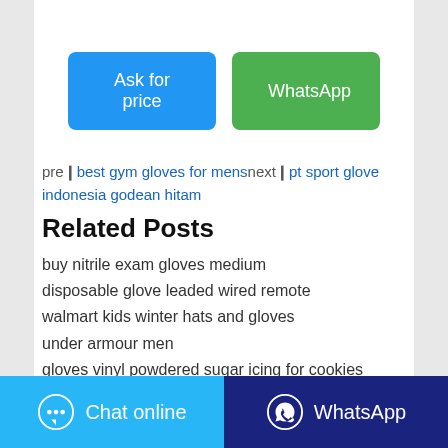[Figure (other): Two buttons: 'Ask for price' (blue) and 'WhatsApp' (green)]
pre❙best gym gloves for mensnext❙pt sport glove indonesia godean hitam
Related Posts
buy nitrile exam gloves medium
disposable glove leaded wired remote
walmart kids winter hats and gloves
under armour men
gloves vinyl powdered sugar icing for cookies martha stewart
[Figure (other): Bottom bar with Chat online (light blue) and WhatsApp (dark blue) buttons]